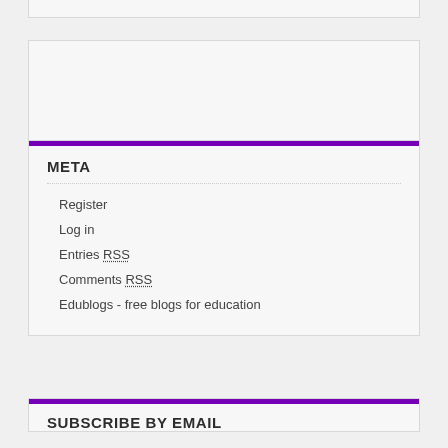META
Register
Log in
Entries RSS
Comments RSS
Edublogs - free blogs for education
SUBSCRIBE BY EMAIL